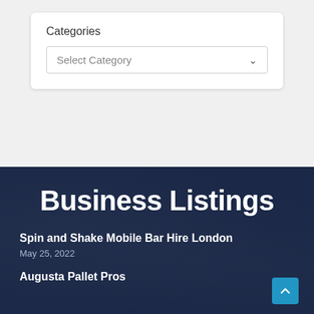Categories
Select Category
Business Listings
Spin and Shake Mobile Bar Hire London
May 25, 2022
Augusta Pallet Pros